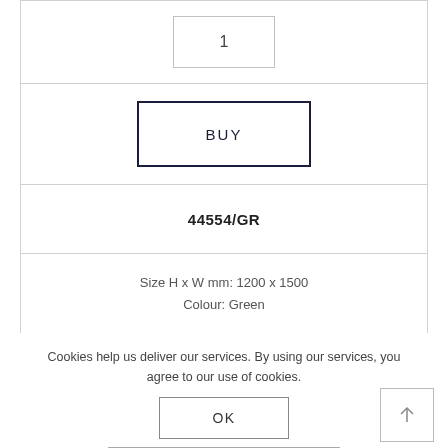1
BUY
44554/GR
Size H x W mm: 1200 x 1500
Colour: Green
Cookies help us deliver our services. By using our services, you agree to our use of cookies.
OK
LEARN MORE